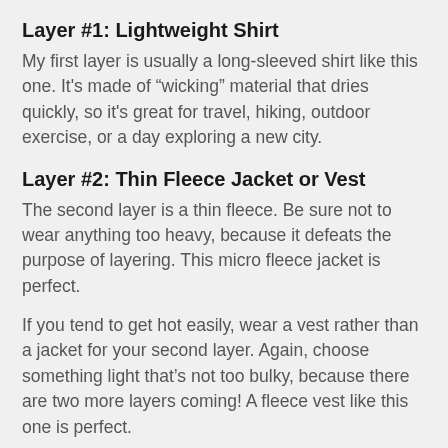Layer #1: Lightweight Shirt
My first layer is usually a long-sleeved shirt like this one. It's made of “wicking” material that dries quickly, so it's great for travel, hiking, outdoor exercise, or a day exploring a new city.
Layer #2: Thin Fleece Jacket or Vest
The second layer is a thin fleece. Be sure not to wear anything too heavy, because it defeats the purpose of layering. This micro fleece jacket is perfect.
If you tend to get hot easily, wear a vest rather than a jacket for your second layer. Again, choose something light that’s not too bulky, because there are two more layers coming! A fleece vest like this one is perfect.
When selecting a jacket or vest, look for zipper